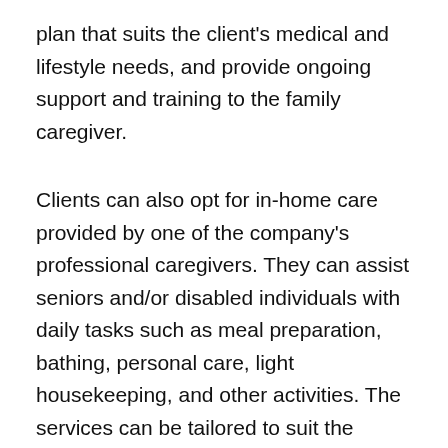plan that suits the client's medical and lifestyle needs, and provide ongoing support and training to the family caregiver.
Clients can also opt for in-home care provided by one of the company's professional caregivers. They can assist seniors and/or disabled individuals with daily tasks such as meal preparation, bathing, personal care, light housekeeping, and other activities. The services can be tailored to suit the client's specific needs.
Aside from setting to know the client's medical